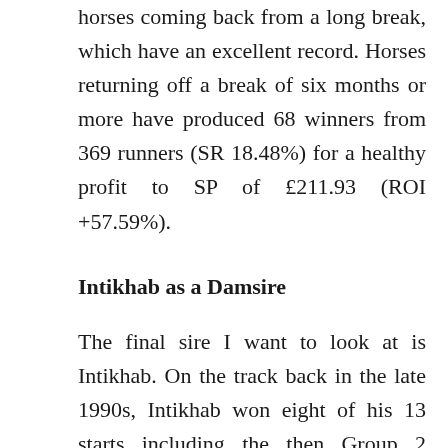horses coming back from a long break, which have an excellent record. Horses returning off a break of six months or more have produced 68 winners from 369 runners (SR 18.48%) for a healthy profit to SP of £211.93 (ROI +57.59%).
Intikhab as a Damsire
The final sire I want to look at is Intikhab. On the track back in the late 1990s, Intikhab won eight of his 13 starts including the then Group 2 Queen Anne Stakes at Royal Ascot in 1998. As a sire he has been extremely successful,